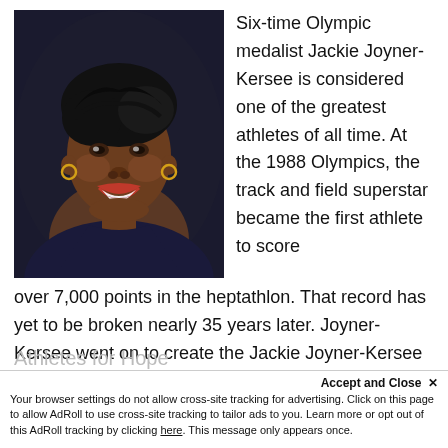[Figure (photo): Portrait photo of Jackie Joyner-Kersee, smiling, wearing gold hoop earrings, dark jacket, against a dark background.]
Six-time Olympic medalist Jackie Joyner-Kersee is considered one of the greatest athletes of all time. At the 1988 Olympics, the track and field superstar became the first athlete to score over 7,000 points in the heptathlon. That record has yet to be broken nearly 35 years later. Joyner-Kersee went on to create the Jackie Joyner-Kersee Youth Center Foundation, which aims to help at-risk children, and, along with Mia Hamm, was one of the cofounders of
Athletes for Hope
Accept and Close ✕
Your browser settings do not allow cross-site tracking for advertising. Click on this page to allow AdRoll to use cross-site tracking to tailor ads to you. Learn more or opt out of this AdRoll tracking by clicking here. This message only appears once.